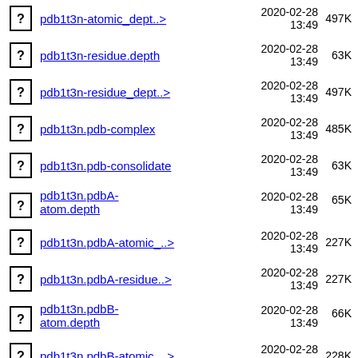pdb1t3n-atomic_dept..> 2020-02-28 13:49 497K
pdb1t3n-residue.depth 2020-02-28 13:49 63K
pdb1t3n-residue_dept..> 2020-02-28 13:49 497K
pdb1t3n.pdb-complex 2020-02-28 13:49 485K
pdb1t3n.pdb-consolidate 2020-02-28 13:49 63K
pdb1t3n.pdbA-atom.depth 2020-02-28 13:49 65K
pdb1t3n.pdbA-atomic_..> 2020-02-28 13:49 227K
pdb1t3n.pdbA-residue..> 2020-02-28 13:49 227K
pdb1t3n.pdbB-atom.depth 2020-02-28 13:49 66K
pdb1t3n.pdbB-atomic_..> 2020-02-28 13:49 228K
pdb1t3n.pdbB-residue..> 2020-02-28 13:49 228K
pdb1t3n.pdbP-atom.depth 2020-02-28 13:49 5.3K